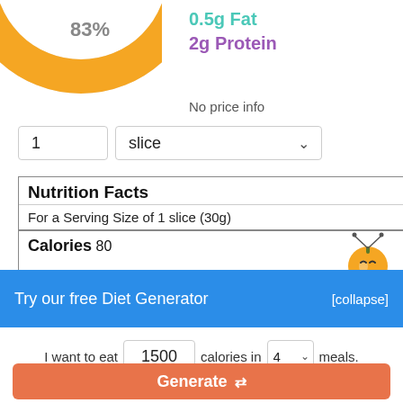[Figure (donut-chart): Partial donut/pie chart showing 83% segment in orange/yellow, cropped at top-left of page]
0.5g Fat
2g Protein
No price info
1  slice
| Nutrition Facts |
| For a Serving Size of 1 slice (30g) |
| Calories 80 | Calories from Fat
4.5 (5.6%) |
|  | % Daily |
Try our free Diet Generator
[collapse]
I want to eat 1500 calories in 4 meals.
Generate